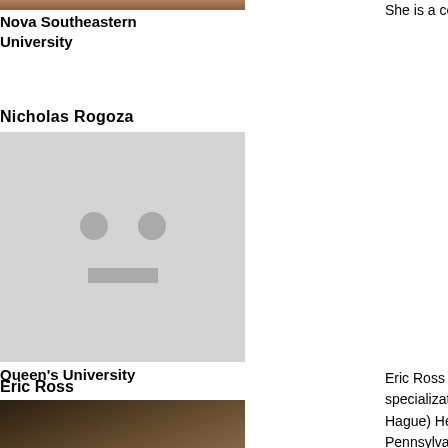[Figure (photo): Partial photo of a person, cropped at top]
Nova Southeastern University
She is a certified Yoga instructor and enjoys tra
Nicholas Rogoza
[Figure (photo): Placeholder avatar image with grey face icon]
Queen's University
Eric Ross
[Figure (photo): Photo of Eric Ross, older man with white curly hair, hand to face]
Institute of Social Studies
Eric Ross is a Senior Lecturer in the Population specialization of the MA in Development Studi Hague) He received his BA in anthropology in Pennsylvania and his MPhil and PhD in anthro University. His doctoral research was conducte Peruvian Achuarā, a sub-group of the so-called His research focused on the ecology of tropical resulted in the seminal paper in Current Anthro Hunting Strategy: The Adaptation to Animals i specialized in medical anthropology, he had a p epidemiology at the School of Public Health at issues and a former member of the steering con the UK, much of his subsequent work has neve